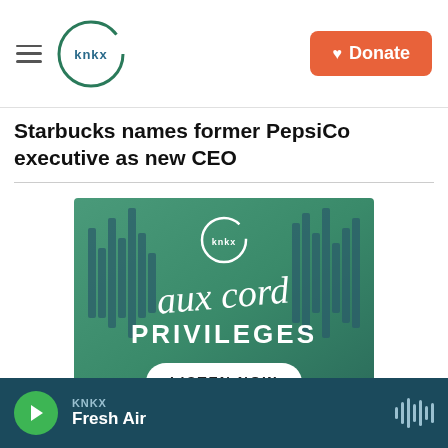KNKX — Donate
Starbucks names former PepsiCo executive as new CEO
[Figure (advertisement): KNKX 'aux cord PRIVILEGES — LISTEN NOW' promotional banner advertisement with green gradient background, vertical bar audio waveform graphics, KNKX logo, cursive 'aux cord' text, bold 'PRIVILEGES' text, and a white rounded 'LISTEN NOW' button.]
KNKX — Fresh Air (audio player bar)